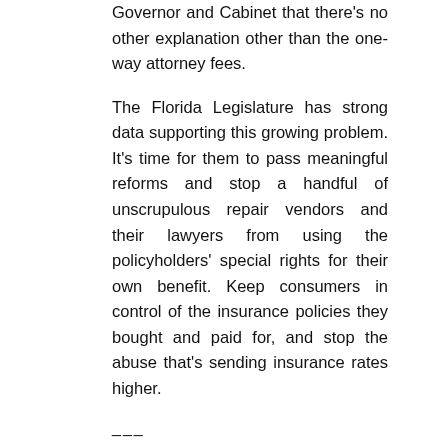Governor and Cabinet that there's no other explanation other than the one-way attorney fees.
The Florida Legislature has strong data supporting this growing problem. It's time for them to pass meaningful reforms and stop a handful of unscrupulous repair vendors and their lawyers from using the policyholders' special rights for their own benefit. Keep consumers in control of the insurance policies they bought and paid for, and stop the abuse that's sending insurance rates higher.
___
William Large is President of the Florida Justice Reform Institute.